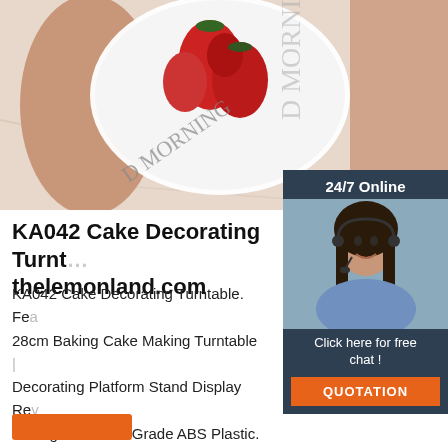[Figure (photo): Top portion of page showing hands holding a white plate with red cherry tomatoes on a marble surface, partially clipped text 'D MORNING' visible]
KA042 Cake Decorating Turntable - thelemonland.com
KA042 Cake Decorating Turntable. Fe... 28cm Baking Cake Making Turntable ... Decorating Platform Stand Display Re... Baking Tool Food Grade ABS Plastic. ... decorating turntable makes it simple to decorate professional-looking desserts at home. 11-inch platform with soft-grip ring and smooth-rolling track; works left- or ...
[Figure (photo): Chat widget showing '24/7 Online' header, photo of smiling woman with headset, 'Click here for free chat!' text, and orange QUOTATION button]
[Figure (logo): TOP orange logo with decorative dots in bottom right corner]